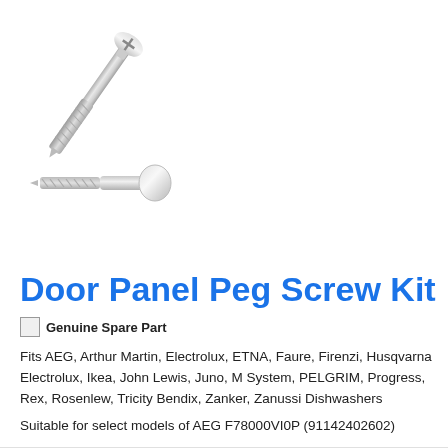[Figure (photo): Two metallic screws/pegs shown against white background. Top screw shown at an angle with Phillips head. Bottom peg shown horizontally with threaded end and flat cap.]
Door Panel Peg Screw Kit
Genuine Spare Part
Fits AEG, Arthur Martin, Electrolux, ETNA, Faure, Firenzi, Husqvarna Electrolux, Ikea, John Lewis, Juno, M System, PELGRIM, Progress, Rex, Rosenlew, Tricity Bendix, Zanker, Zanussi Dishwashers
Suitable for select models of AEG F78000VI0P (91142402602)